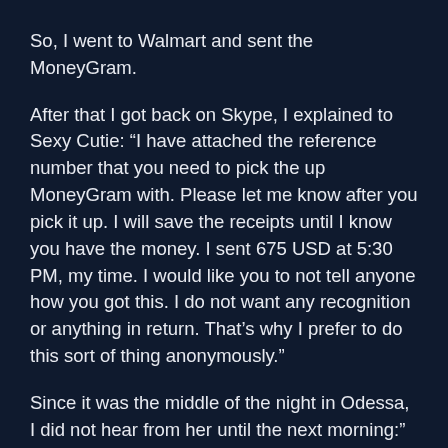So, I went to Walmart and sent the MoneyGram.
After that I got back on Skype, I explained to Sexy Cutie: “I have attached the reference number that you need to pick the up MoneyGram with. Please let me know after you pick it up. I will save the receipts until I know you have the money. I sent 675 USD at 5:30 PM, my time. I would like you to not tell anyone how you got this. I do not want any recognition or anything in return. That’s why I prefer to do this sort of thing anonymously.”
Since it was the middle of the night in Odessa, I did not hear from her until the next morning:” Hi my dear, I was at the bank today, I wanted to receive your transfer. but I was told that it was canceled.”
So, I called MoneyGram and confirmed it was returned to me